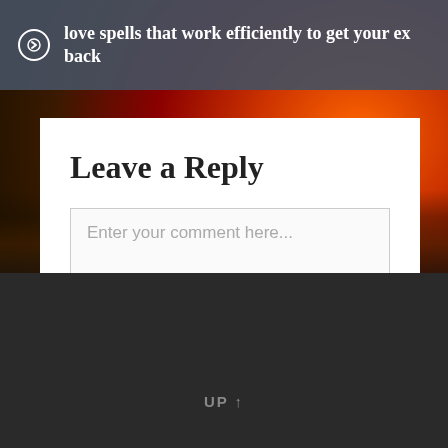love spells that work efficiently to get your ex back
Leave a Reply
Enter your comment here...
UP ↑